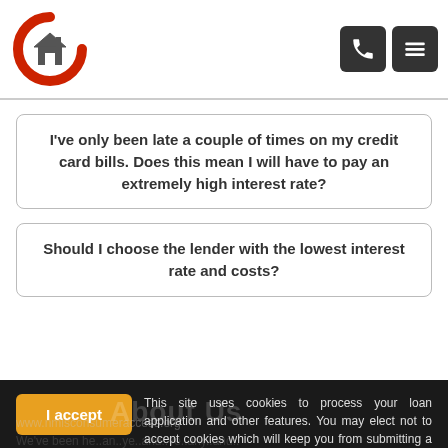Champion Home Loans logo and navigation
I've only been late a couple of times on my credit card bills. Does this mean I will have to pay an extremely high interest rate?
Should I choose the lender with the lowest interest rate and costs?
This site uses cookies to process your loan application and other features. You may elect not to accept cookies which will keep you from submitting a loan application. By your clicked consent/acceptance you acknowledge and allow the use of cookies. By clicking I Accept you acknowledge you have read and understand Champion Home Loans Inc's Privacy Policy.